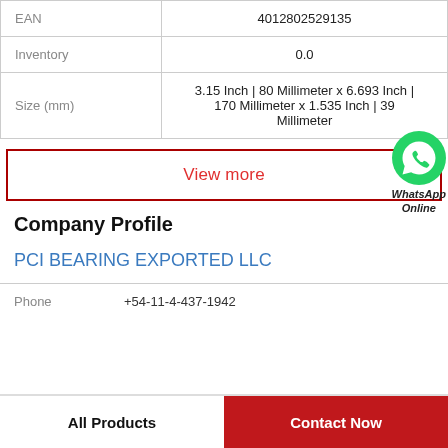|  |  |
| --- | --- |
| EAN | 4012802529135 |
| Inventory | 0.0 |
| Size (mm) | 3.15 Inch | 80 Millimeter x 6.693 Inch | 170 Millimeter x 1.535 Inch | 39 Millimeter |
View more
[Figure (logo): WhatsApp Online green logo badge with text 'WhatsApp Online']
Company Profile
PCI BEARING EXPORTED LLC
Phone  +54-11-4-437-1942
All Products
Contact Now